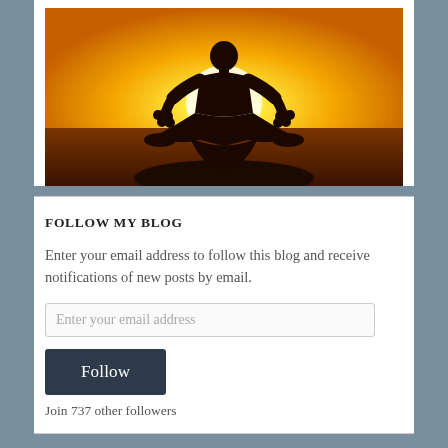[Figure (photo): Silhouette of a person in a lotus yoga meditation pose against a bright orange-yellow sunset sky over water.]
FOLLOW MY BLOG
Enter your email address to follow this blog and receive notifications of new posts by email.
Enter your email address
Follow
Join 737 other followers